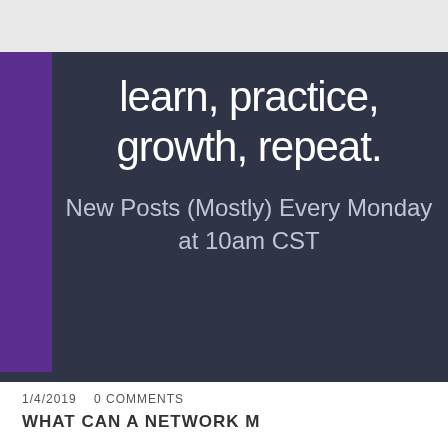[Figure (screenshot): Gray header bar at top of webpage]
learn, practice, growth, repeat.
New Posts (Mostly) Every Monday at 10am CST
1/4/2019    0 COMMENTS
WHAT CAN A NETWORK M...
POWERED BY weebly